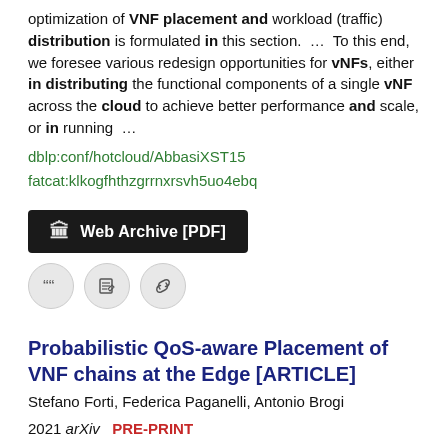optimization of VNF placement and workload (traffic) distribution is formulated in this section.  ...  To this end, we foresee various redesign opportunities for vNFs, either in distributing the functional components of a single vNF across the cloud to achieve better performance and scale, or in running  ...
dblp:conf/hotcloud/AbbasiXST15
fatcat:klkogfhthzgrrnxrsvh5uo4ebq
[Figure (other): Web Archive [PDF] button with archive icon on dark background]
[Figure (other): Three icon buttons: quote, edit, and link]
Probabilistic QoS-aware Placement of VNF chains at the Edge [ARTICLE]
Stefano Forti, Federica Paganelli, Antonio Brogi
2021 arXiv  PRE-PRINT
It exploits probability distributions to model the dynamic variations in the available Cloud-Edge infrastructure, and to assess output eligible placements against those variations.  ...  EdgeUsher can determine all eligible placements for a set of VNF chains to a Cloud-Edge infrastructure so to satisfy all of their hardware, IoT, security, bandwidth, and latency requirements.  ...  Acknowledgements This